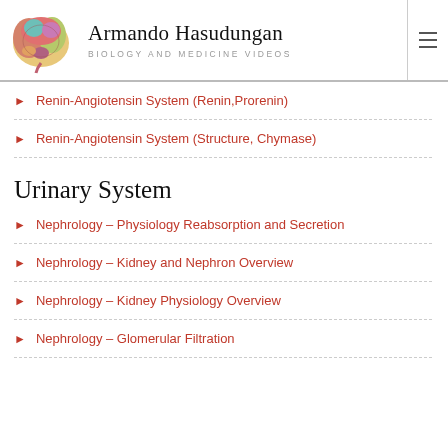Armando Hasudungan — Biology and Medicine Videos
Renin-Angiotensin System (Renin,Prorenin)
Renin-Angiotensin System (Structure, Chymase)
Urinary System
Nephrology – Physiology Reabsorption and Secretion
Nephrology – Kidney and Nephron Overview
Nephrology – Kidney Physiology Overview
Nephrology – Glomerular Filtration